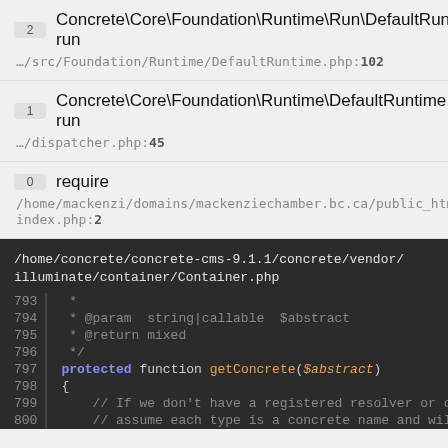2  Concrete\Core\Foundation\Runtime\Run\DefaultRunner run
…/src/Foundation/Runtime/DefaultRuntime.php:102
1  Concrete\Core\Foundation\Runtime\DefaultRuntime run
…/dispatcher.php:45
0  require
/home/mackenzi/domains/mackenziechamber.bc.ca/public_html/index.php:2
/home/concrete/concrete-cms-9.1.1/concrete/vendor/illuminate/container/Container.php
793   *
794   * @param  string|callable  $abstract
795   * @return mixed
796   */
797   protected function getConcrete($abstract)
798   {
799   // If we don't have a registered resolver or co
800   // assume each type is a concrete name and will